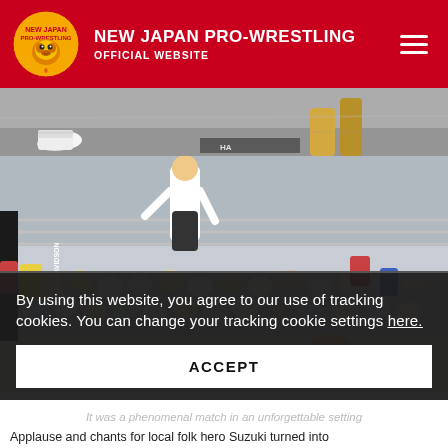NEW JAPAN PRO-WRESTLING OFFICIAL WEBSITE
[Figure (photo): Top strip photo of wrestlers' feet and ring area with Harley-Davidson branding visible]
[Figure (photo): Wrestling ring scene showing a wrestler lying on the mat near the ropes, referee standing, crowd watching in background. Harley-Davidson signage on the ring corner.]
By using this website, you agree to our use of tracking cookies. You can change your tracking cookie settings here.
ACCEPT
It was a phenomenal match in an unforgettable setting
Applause and chants for local folk hero Suzuki turned into